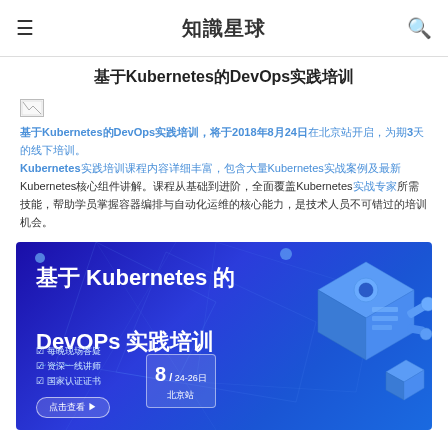知識星球
基于Kubernetes的DevOps实践培训
[Figure (other): Small broken image placeholder]
基于Kubernetes的DevOps实践培训，将于2018年8月24日在北京站开启，为期3天的线下培训。Kubernetes实践培训课程内容详细丰富，包含大量Kubernetes实战案例。Kubernetes实践培训课程将会带领学员深入理解并掌握Kubernetes核心组件及其原理，帮助学员成为Kubernetes实战专家。课程内容丰富多彩，适合各类技术人员参加学习。
[Figure (illustration): Banner image for Kubernetes DevOps training course. Blue/purple gradient background with text: 基于 Kubernetes 的 DevOps 实践培训. Shows date 8/24-26日 北京站. Features: 每晚现场答疑, 资深一线讲师, 国家认证证书. Button: 点击查看. 3D cube/server illustration on right side.]